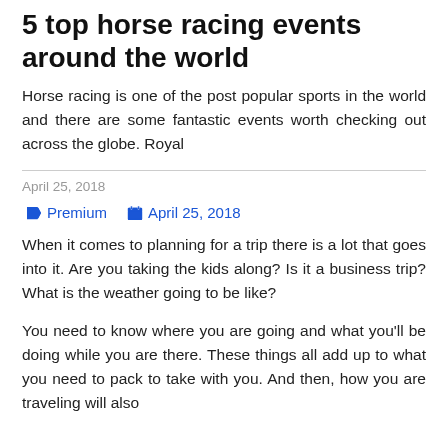5 top horse racing events around the world
Horse racing is one of the post popular sports in the world and there are some fantastic events worth checking out across the globe. Royal
April 25, 2018
Premium   April 25, 2018
When it comes to planning for a trip there is a lot that goes into it. Are you taking the kids along? Is it a business trip? What is the weather going to be like?
You need to know where you are going and what you'll be doing while you are there. These things all add up to what you need to pack to take with you. And then, how you are traveling will also